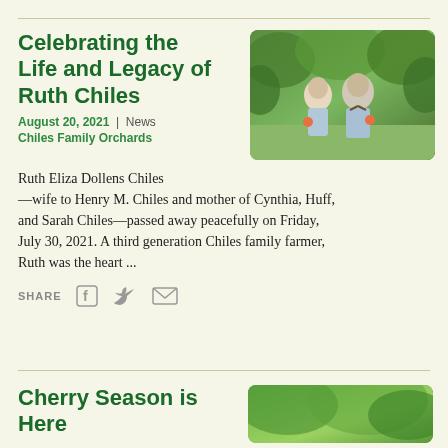Celebrating the Life and Legacy of Ruth Chiles
August 20, 2021  |  News
Chiles Family Orchards
[Figure (photo): An elderly couple standing outdoors in an orchard, smiling and holding fruit]
Ruth Eliza Dollens Chiles —wife to Henry M. Chiles and mother of Cynthia, Huff, and Sarah Chiles—passed away peacefully on Friday, July 30, 2021. A third generation Chiles family farmer, Ruth was the heart ...
SHARE
Cherry Season is Here